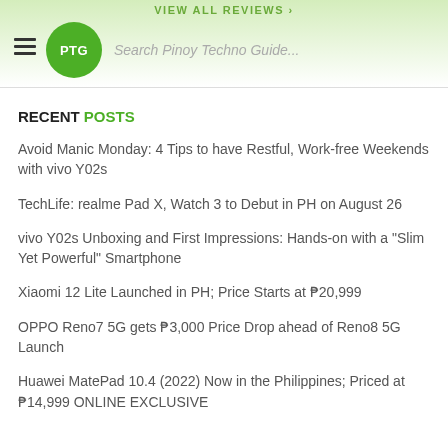VIEW ALL REVIEWS
Search Pinoy Techno Guide...
RECENT POSTS
Avoid Manic Monday: 4 Tips to have Restful, Work-free Weekends with vivo Y02s
TechLife: realme Pad X, Watch 3 to Debut in PH on August 26
vivo Y02s Unboxing and First Impressions: Hands-on with a "Slim Yet Powerful" Smartphone
Xiaomi 12 Lite Launched in PH; Price Starts at ₱20,999
OPPO Reno7 5G gets ₱3,000 Price Drop ahead of Reno8 5G Launch
Huawei MatePad 10.4 (2022) Now in the Philippines; Priced at ₱14,999 ONLINE EXCLUSIVE